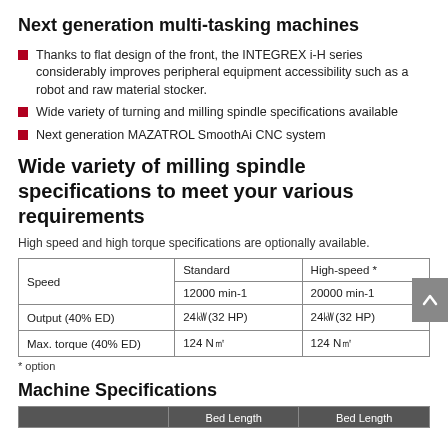Next generation multi-tasking machines
Thanks to flat design of the front, the INTEGREX i-H series considerably improves peripheral equipment accessibility such as a robot and raw material stocker.
Wide variety of turning and milling spindle specifications available
Next generation MAZATROL SmoothAi CNC system
Wide variety of milling spindle specifications to meet your various requirements
High speed and high torque specifications are optionally available.
| Speed | Standard | High-speed * |
| --- | --- | --- |
|  | 12000 min-1 | 20000 min-1 |
| Output (40% ED) | 24㎾(32 HP) | 24㎾(32 HP) |
| Max. torque (40% ED) | 124 N㎡ | 124 N㎡ |
* option
Machine Specifications
|  | Bed Length | Bed Length |
| --- | --- | --- |